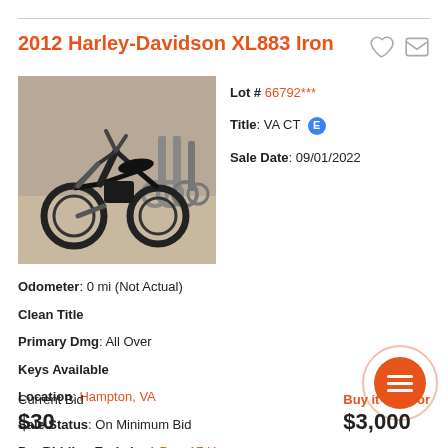2012 Harley-Davidson XL883 Iron
[Figure (photo): Black Harley-Davidson motorcycle parked in a warehouse/auction lot with other motorcycles in background]
Lot #: 66792***
Title: VA CT E
Sale Date: 09/01/2022
Odometer: 0 mi (Not Actual)
Clean Title
Primary Dmg: All Over
Keys Available
Location: Hampton, VA
Sale Status: On Minimum Bid
Pre Bidding Ends in: 1 Day, 17 Hours
Current Bid
Buy it now for
$30
$3,000